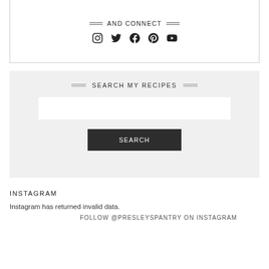AND CONNECT
[Figure (infographic): Row of five social media icons: Instagram, Twitter, Facebook, Pinterest, YouTube]
SEARCH MY RECIPES
[Figure (other): Search input field (empty text box) and a dark SEARCH button]
INSTAGRAM
Instagram has returned invalid data.
FOLLOW @PRESLEYSPANTRY ON INSTAGRAM